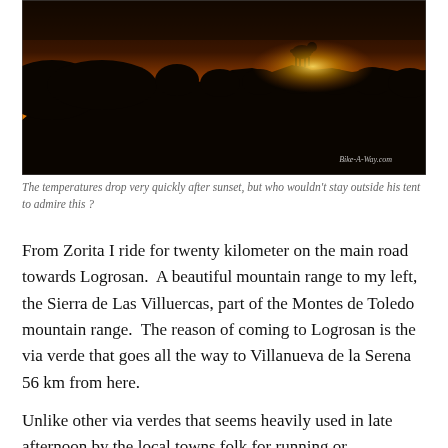[Figure (photo): Silhouette of a sheep/goat on a rocky hilltop against a warm orange and yellow sunset sky, with dark landscape in foreground. Watermark reads 'Bike-A-Way.com' in lower right.]
The temperatures drop very quickly after sunset, but who wouldn't stay outside his tent to admire this ?
From Zorita I ride for twenty kilometer on the main road towards Logrosan.  A beautiful mountain range to my left, the Sierra de Las Villuercas, part of the Montes de Toledo mountain range.  The reason of coming to Logrosan is the via verde that goes all the way to Villanueva de la Serena 56 km from here.
Unlike other via verdes that seems heavily used in late afternoon by the local towns folk for running or